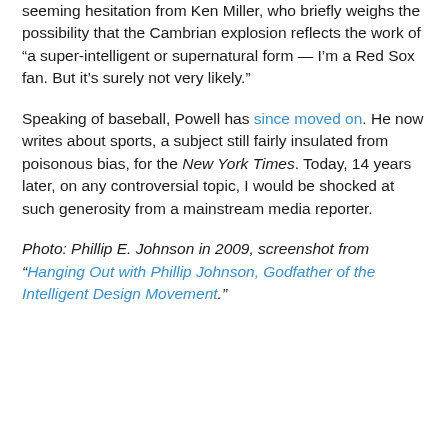seeming hesitation from Ken Miller, who briefly weighs the possibility that the Cambrian explosion reflects the work of “a super-intelligent or supernatural form — I’m a Red Sox fan. But it’s surely not very likely.”
Speaking of baseball, Powell has since moved on. He now writes about sports, a subject still fairly insulated from poisonous bias, for the New York Times. Today, 14 years later, on any controversial topic, I would be shocked at such generosity from a mainstream media reporter.
Photo: Phillip E. Johnson in 2009, screenshot from “Hanging Out with Phillip Johnson, Godfather of the Intelligent Design Movement.”